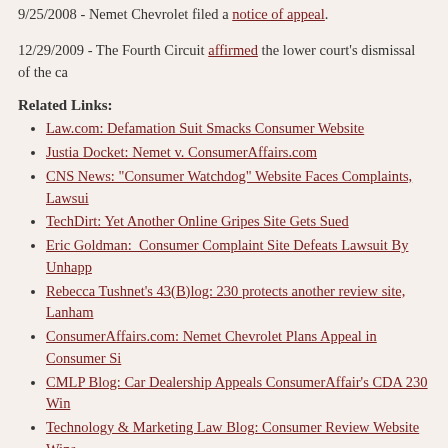9/25/2008 - Nemet Chevrolet filed a notice of appeal.
12/29/2009 - The Fourth Circuit affirmed the lower court's dismissal of the case.
Related Links:
Law.com: Defamation Suit Smacks Consumer Website
Justia Docket: Nemet v. ConsumerAffairs.com
CNS News: "Consumer Watchdog" Website Faces Complaints, Lawsuits
TechDirt: Yet Another Online Gripes Site Gets Sued
Eric Goldman: Consumer Complaint Site Defeats Lawsuit By Unhappy Car Dealer
Rebecca Tushnet's 43(B)log: 230 protects another review site, Lanham Act claim also fails
ConsumerAffairs.com: Nemet Chevrolet Plans Appeal in Consumer Site Case
CMLP Blog: Car Dealership Appeals ConsumerAffair's CDA 230 Win
Technology & Marketing Law Blog: Consumer Review Website Wins Again
Jurisdiction:
Virginia
Content Type:
Text